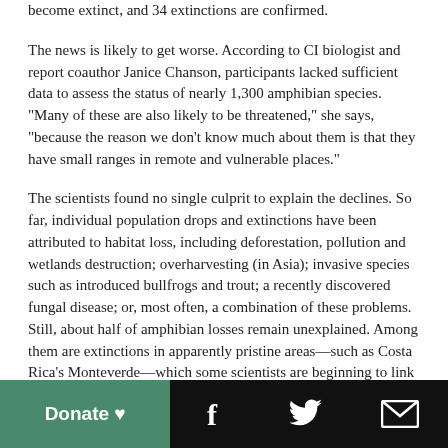become extinct, and 34 extinctions are confirmed.
The news is likely to get worse. According to CI biologist and report coauthor Janice Chanson, participants lacked sufficient data to assess the status of nearly 1,300 amphibian species. "Many of these are also likely to be threatened," she says, "because the reason we don't know much about them is that they have small ranges in remote and vulnerable places."
The scientists found no single culprit to explain the declines. So far, individual population drops and extinctions have been attributed to habitat loss, including deforestation, pollution and wetlands destruction; overharvesting (in Asia); invasive species such as introduced bullfrogs and trout; a recently discovered fungal disease; or, most often, a combination of these problems. Still, about half of amphibian losses remain unexplained. Among them are extinctions in apparently pristine areas—such as Costa Rica's Monteverde—which some scientists are beginning to link to global warming. In the United States, says Wake, "the most mysterious disappearances are from seemingly undisturbed national
[Figure (infographic): Bottom footer bar with green Donate button with heart symbol on left, and black social media icons (Facebook, Twitter, Email) on right]